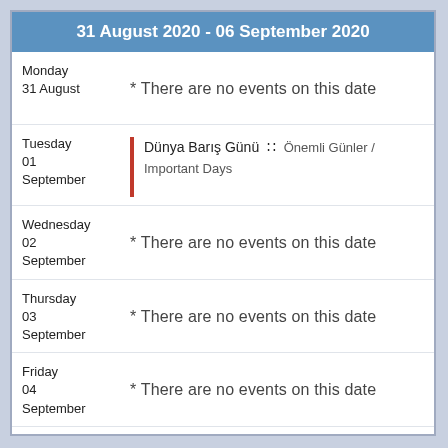31 August 2020 - 06 September 2020
Monday 31 August
* There are no events on this date
Tuesday 01 September
Dünya Barış Günü :: Önemli Günler / Important Days
Wednesday 02 September
* There are no events on this date
Thursday 03 September
* There are no events on this date
Friday 04 September
* There are no events on this date
Saturday 05 September
* There are no events on this date
Sunday